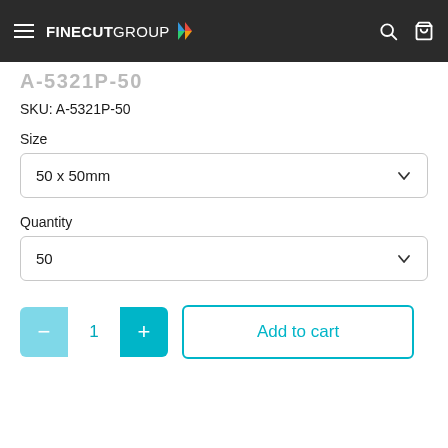FINECUTGROUP
A-5321P-50
SKU: A-5321P-50
Size
50 x 50mm
Quantity
50
1
Add to cart